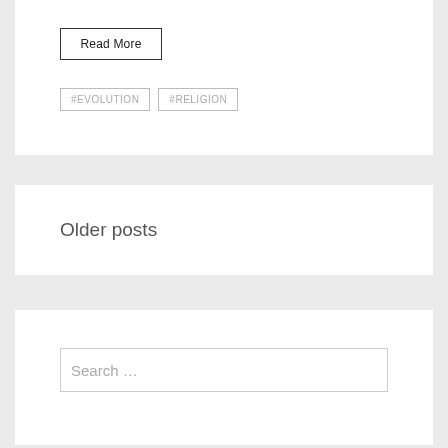Read More
#EVOLUTION
#RELIGION
Older posts
Search …